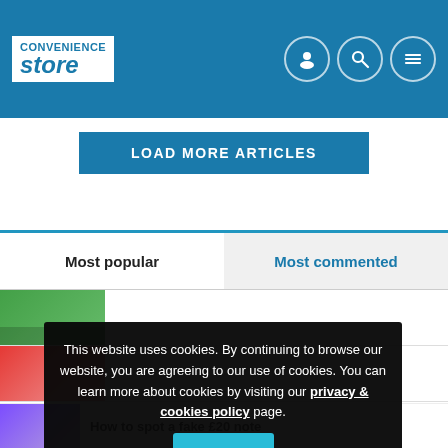Convenience Store
LOAD MORE ARTICLES
Most popular
Most commented
[Figure (screenshot): Partial article thumbnail with green background]
This website uses cookies. By continuing to browse our website, you are agreeing to our use of cookies. You can learn more about cookies by visiting our privacy & cookies policy page.
OK
How to spot a fake £20 note